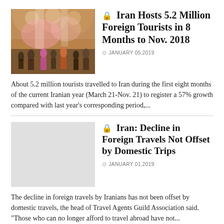[Figure (photo): Interior of an ornate Iranian mosque with arched ceilings, colorful tilework, and visitors walking inside, lit by warm natural light.]
🔒 Iran Hosts 5.2 Million Foreign Tourists in 8 Months to Nov. 2018
JANUARY 05,2019
About 5.2 million tourists travelled to Iran during the first eight months of the current Iranian year (March 21-Nov. 21) to register a 57% growth compared with last year's corresponding period,...
[Figure (photo): Gray placeholder image for the second article.]
🔒 Iran: Decline in Foreign Travels Not Offset by Domestic Trips
JANUARY 01,2019
The decline in foreign travels by Iranians has not been offset by domestic travels, the head of Travel Agents Guild Association said. "Those who can no longer afford to travel abroad have not...